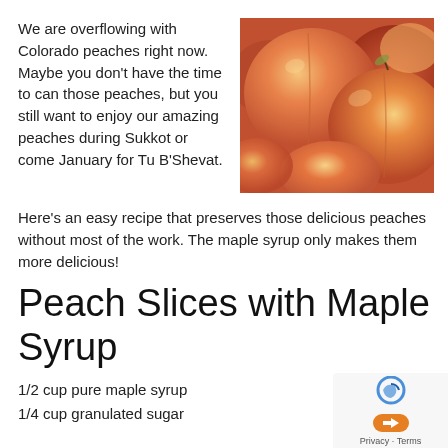We are overflowing with Colorado peaches right now. Maybe you don't have the time to can those peaches, but you still want to enjoy our amazing peaches during Sukkot or come January for Tu B'Shevat.
[Figure (photo): Close-up photo of Colorado peaches, showing several ripe peaches with orange-red skin]
Here's an easy recipe that preserves those delicious peaches without most of the work. The maple syrup only makes them more delicious!
Peach Slices with Maple Syrup
1/2 cup pure maple syrup
1/4 cup granulated sugar